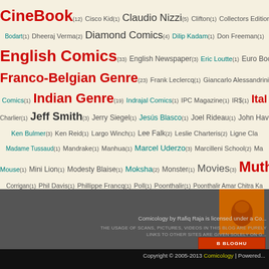[Figure (infographic): Tag cloud of comic book categories and authors/publishers with varying font sizes and colors (red, teal, dark) indicating frequency/weight. Numbers in parentheses show count.]
Comicology by Rafiq Raja is licensed under a Co... THE USAGE OF SCANS, PICTURES, VIDEOS IN THIS BLOG ARE PURELY... LINKS TO OTHER SITES ARE GIVEN SOLELY ON G...
Copyright © 2005-2013 Comicology | Powered...